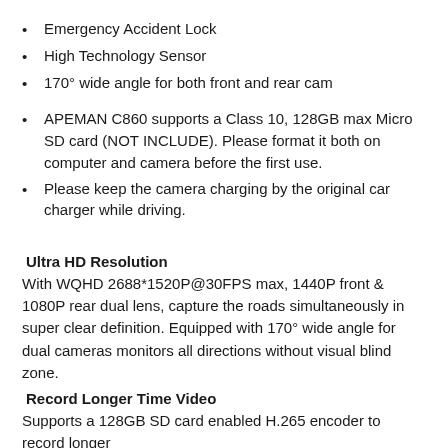Emergency Accident Lock
High Technology Sensor
170° wide angle for both front and rear cam
APEMAN C860 supports a Class 10, 128GB max Micro SD card (NOT INCLUDE). Please format it both on computer and camera before the first use.
Please keep the camera charging by the original car charger while driving.
Ultra HD Resolution
With WQHD 2688*1520P@30FPS max, 1440P front & 1080P rear dual lens, capture the roads simultaneously in super clear definition. Equipped with 170° wide angle for dual cameras monitors all directions without visual blind zone.
Record Longer Time Video
Supports a 128GB SD card enabled H.265 encoder to record longer...